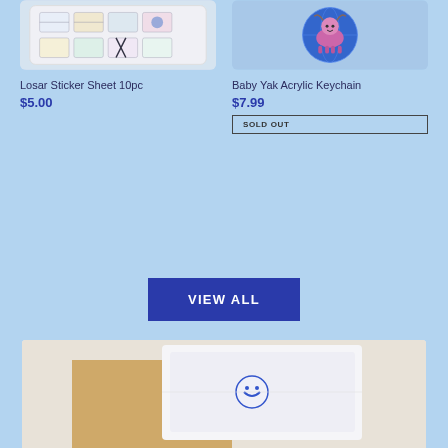[Figure (photo): Product image of Losar Sticker Sheet 10pc showing illustrated stickers on white/light background]
Losar Sticker Sheet 10pc
$5.00
[Figure (photo): Product image of Baby Yak Acrylic Keychain showing a cartoon yak on a blue globe]
Baby Yak Acrylic Keychain
$7.99
SOLD OUT
VIEW ALL
[Figure (photo): Bottom partial product image showing white folded card or item on kraft/tan background]